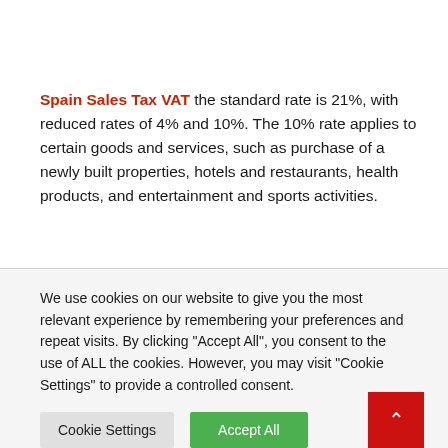Spain Sales Tax VAT the standard rate is 21%, with reduced rates of 4% and 10%. The 10% rate applies to certain goods and services, such as purchase of a newly built properties, hotels and restaurants, health products, and entertainment and sports activities.
We use cookies on our website to give you the most relevant experience by remembering your preferences and repeat visits. By clicking "Accept All", you consent to the use of ALL the cookies. However, you may visit "Cookie Settings" to provide a controlled consent.